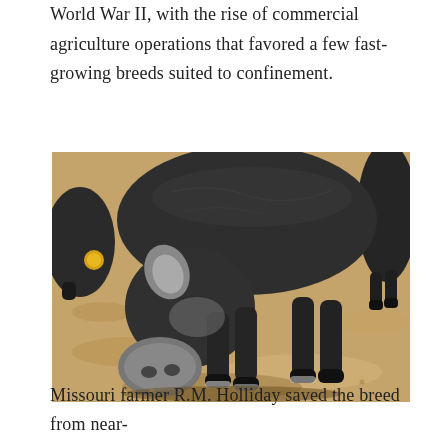World War II, with the rise of commercial agriculture operations that favored a few fast-growing breeds suited to confinement.
[Figure (photo): Black pig with its snout close to the sandy ground, with other black pigs visible in the background. The pigs have a yellow ear tag visible on one of the pigs in the background.]
Missouri farmer R.M. Holliday saved the breed from near-